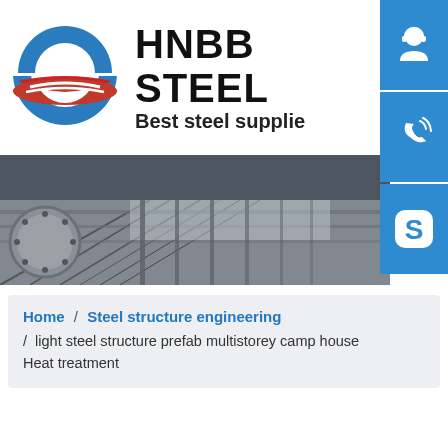[Figure (logo): HNBB Steel company logo with circular Obama-style blue and red logo mark on the left, company name 'HNBB STEEL' in bold black text and tagline 'Best steel supplie' below, with three blue icon buttons on the right (headset/customer service, phone, Skype) and a dark nav bar and steel structure building photograph]
Home / Steel structure engineering / light steel structure prefab multistorey camp house Heat treatment